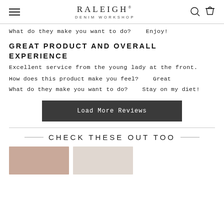RALEIGH DENIM WORKSHOP
What do they make you want to do?    Enjoy!
GREAT PRODUCT AND OVERALL EXPERIENCE
Excellent service from the young lady at the front.
How does this product make you feel?    Great
What do they make you want to do?    Stay on my diet!
Load More Reviews
— CHECK THESE OUT TOO —
[Figure (photo): Product photo thumbnails at bottom of page]